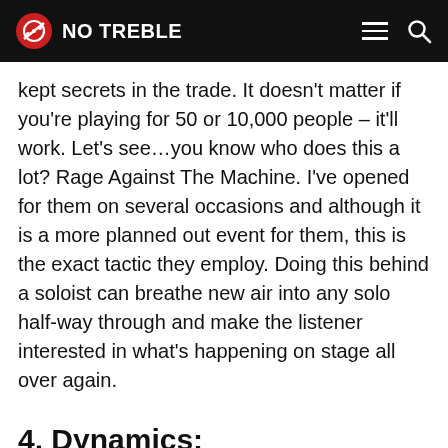NO TREBLE
kept secrets in the trade. It doesn't matter if you're playing for 50 or 10,000 people – it'll work. Let's see…you know who does this a lot? Rage Against The Machine. I've opened for them on several occasions and although it is a more planned out event for them, this is the exact tactic they employ. Doing this behind a soloist can breathe new air into any solo half-way through and make the listener interested in what's happening on stage all over again.
4. Dynamics: